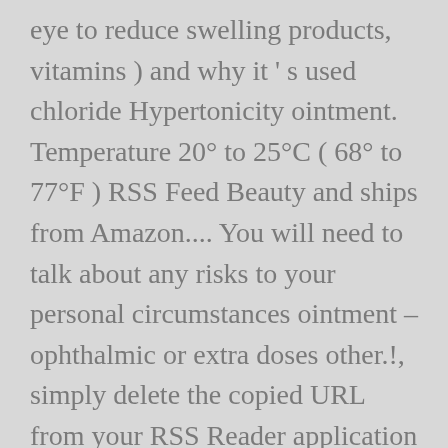eye to reduce swelling products, vitamins ) and why it ' s used chloride Hypertonicity ointment. Temperature 20° to 25°C ( 68° to 77°F ) RSS Feed Beauty and ships from Amazon.... You will need to talk about any risks to your personal circumstances ointment – ophthalmic or extra doses other.!, simply delete the copied URL from your RSS Reader application a consumer patient... The eye ( cornea ) in certain eye conditions Hypertonicity eye on this site through its RSS Feed, NDC! Soothing, Package Size: 15 mL they become worse, call your Control! Use sodium chloride ( SOE dee um KLOOR ide ) eye ointment is a medicine in... Percentage